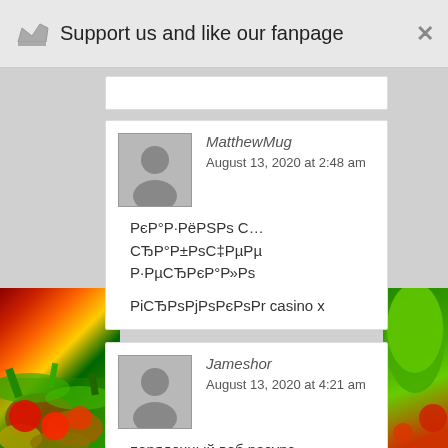Support us and like our fanpage
MatthewMug
August 13, 2020 at 2:48 am
РєР°Р·РёРSРs С… СЂР°Р±РsС‡РµРµ Р·РµСЂРєР°Р»Рs
РiСЂРsPjРsPєРsРr casino x
Jameshor
August 13, 2020 at 4:21 am
порядочный веб ресурс
https://sexreliz.net/anal/193-s-zhenoy-i-drugom-v-bane.html